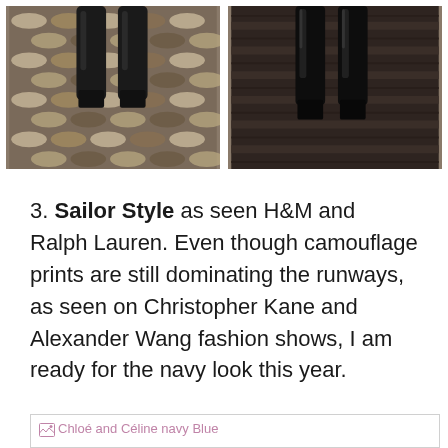[Figure (photo): Two fashion runway photos side by side showing models wearing black tall boots. Left photo shows boots on a mosaic tile floor with brown and tan oval patterns. Right photo shows boots on a dark wood floor.]
3. Sailor Style as seen H&M and Ralph Lauren. Even though camouflage prints are still dominating the runways, as seen on Christopher Kane and Alexander Wang fashion shows, I am ready for the navy look this year.
[Figure (photo): Image placeholder for Chloé and Céline navy Blue fashion photo (image not loaded)]